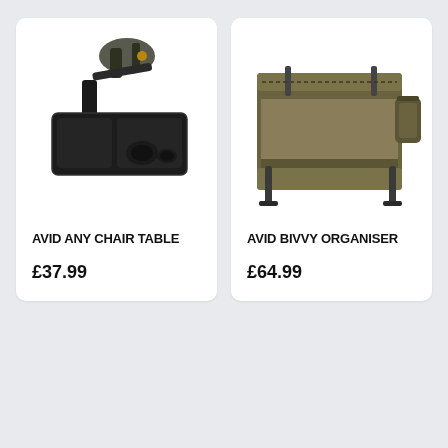[Figure (photo): Avid Any Chair Table product photo - black tray-style table with cup holders, attached to chair mechanism]
AVID ANY CHAIR TABLE
£37.99
[Figure (photo): Avid Bivvy Organiser product photo - olive/khaki coloured organiser unit with legs and open compartment]
AVID BIVVY ORGANISER
£64.99